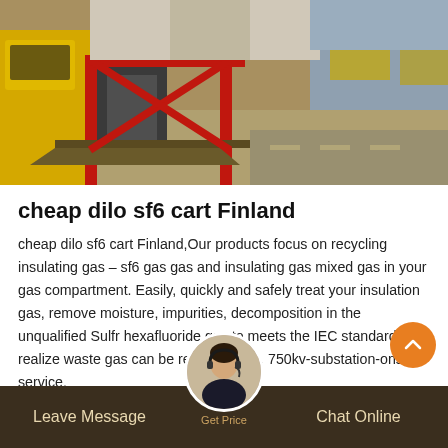[Figure (photo): Photograph of industrial/electrical equipment or trucks on a street, showing yellow vehicles, red barriers, and electrical infrastructure]
cheap dilo sf6 cart Finland
cheap dilo sf6 cart Finland,Our products focus on recycling insulating gas – sf6 gas gas and insulating gas mixed gas in your gas compartment. Easily, quickly and safely treat your insulation gas, remove moisture, impurities, decomposition in the unqualified Sulfr hexafluoride gas to meets the IEC standard, and realize waste gas can be reused again. 750kv-substation-ons service.
Leave Message   Get Price   Chat Online